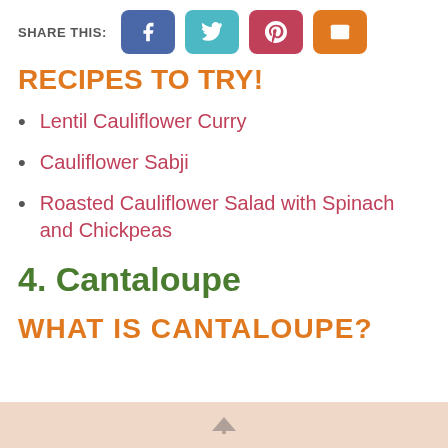SHARE THIS:
[Figure (infographic): Social share buttons: Facebook (blue), Twitter (teal), Pinterest (red/pink), Email (orange)]
RECIPES TO TRY!
Lentil Cauliflower Curry
Cauliflower Sabji
Roasted Cauliflower Salad with Spinach and Chickpeas
4. Cantaloupe
WHAT IS CANTALOUPE?